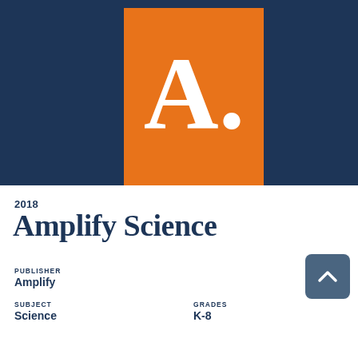[Figure (logo): Amplify logo: white serif letter A with a period on an orange rectangle background, set against a dark navy blue background]
2018
Amplify Science
PUBLISHER
Amplify
SUBJECT
Science
GRADES
K-8